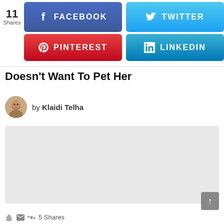[Figure (screenshot): Social share buttons: Facebook (blue), Twitter (light blue), Pinterest (red), LinkedIn (blue), with share count of 11]
Doesn't Want To Pet Her
by Klaidi Telha
[Figure (photo): Light gray placeholder image area]
5 Shares